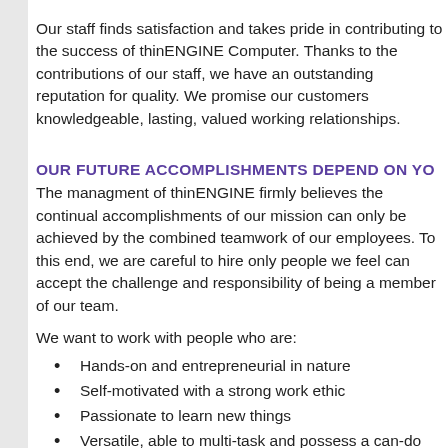Our staff finds satisfaction and takes pride in contributing to the success of thinENGINE Computer. Thanks to the contributions of our staff, we have an outstanding reputation for quality. We promise our customers knowledgeable, lasting, valued working relationships.
OUR FUTURE ACCOMPLISHMENTS DEPEND ON YO...
The managment of thinENGINE firmly believes the continual accomplishments of our mission can only be achieved by the combined teamwork of our employees. To this end, we are careful to hire only people we feel can accept the challenge and responsibility of being a member of our team.
We want to work with people who are:
Hands-on and entrepreneurial in nature
Self-motivated with a strong work ethic
Passionate to learn new things
Versatile, able to multi-task and possess a can-do...